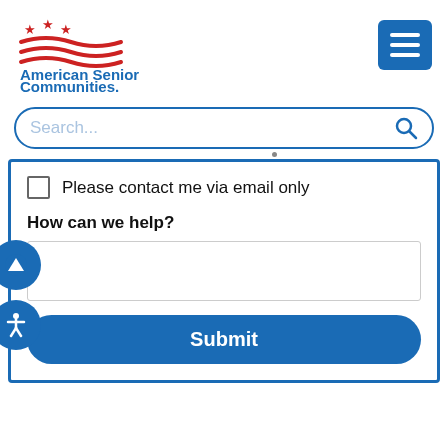[Figure (logo): American Senior Communities logo with red wave/flag and stars graphic, blue text]
[Figure (screenshot): Blue hamburger menu button with three white horizontal lines]
Search...
Please contact me via email only
How can we help?
Submit